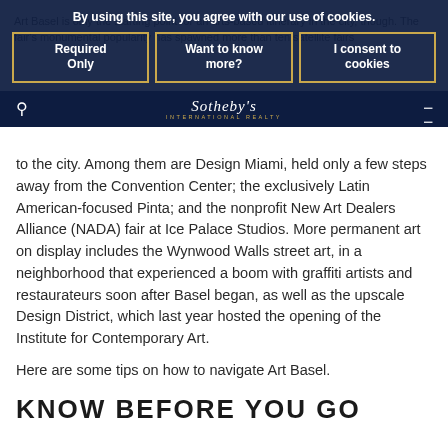Art Basel is only the starting point for an arts-based itinerary in the city, though. The fair's monumental popularity has spawned more than ten satellite fairs to the city. Among them are Design Miami, held only a few steps away from the Convention Center; the exclusively Latin American-focused Pinta; and the nonprofit New Art Dealers Alliance (NADA) fair at Ice Palace Studios. More permanent art on display includes the Wynwood Walls street art, in a neighborhood that experienced a boom with graffiti artists and restaurateurs soon after Basel began, as well as the upscale Design District, which last year hosted the opening of the Institute for Contemporary Art.
Here are some tips on how to navigate Art Basel.
KNOW BEFORE YOU GO
By using this site, you agree with our use of cookies.
Required Only
Want to know more?
I consent to cookies